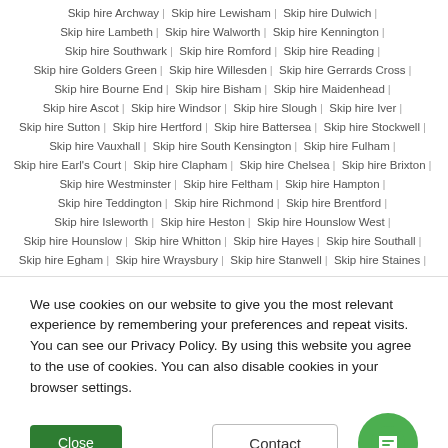Skip hire Archway | Skip hire Lewisham | Skip hire Dulwich |
Skip hire Lambeth | Skip hire Walworth | Skip hire Kennington |
Skip hire Southwark | Skip hire Romford | Skip hire Reading |
Skip hire Golders Green | Skip hire Willesden | Skip hire Gerrards Cross |
Skip hire Bourne End | Skip hire Bisham | Skip hire Maidenhead |
Skip hire Ascot | Skip hire Windsor | Skip hire Slough | Skip hire Iver |
Skip hire Sutton | Skip hire Hertford | Skip hire Battersea | Skip hire Stockwell |
Skip hire Vauxhall | Skip hire South Kensington | Skip hire Fulham |
Skip hire Earl's Court | Skip hire Clapham | Skip hire Chelsea | Skip hire Brixton |
Skip hire Westminster | Skip hire Feltham | Skip hire Hampton |
Skip hire Teddington | Skip hire Richmond | Skip hire Brentford |
Skip hire Isleworth | Skip hire Heston | Skip hire Hounslow West |
Skip hire Hounslow | Skip hire Whitton | Skip hire Hayes | Skip hire Southall |
Skip hire Egham | Skip hire Wraysbury | Skip hire Stanwell | Skip hire Staines |
We use cookies on our website to give you the most relevant experience by remembering your preferences and repeat visits. You can see our Privacy Policy. By using this website you agree to the use of cookies. You can also disable cookies in your browser settings.
Close | Contact